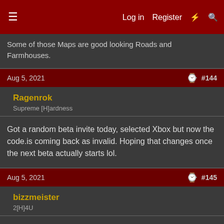≡  Log in  Register  ⚡  🔍
Some of those Maps are good looking Roads and Farmhouses.
Aug 5, 2021  #144
Ragenrok
Supreme [H]ardness
Got a random beta invite today, selected Xbox but now the code.is coming back as invalid. Hoping that changes once the next beta actually starts lol.
Aug 5, 2021  #145
bizzmeister
2[H]4U
Got my invite code too. I'll activate and jump on tonight